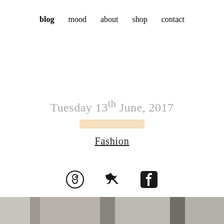blog  mood  about  shop  contact
Tuesday 13th June, 2017
Fashion
[Figure (other): Social media icons: Pinterest, Twitter, Facebook]
[Figure (photo): Bottom strip photo showing partial interior/fashion scene]